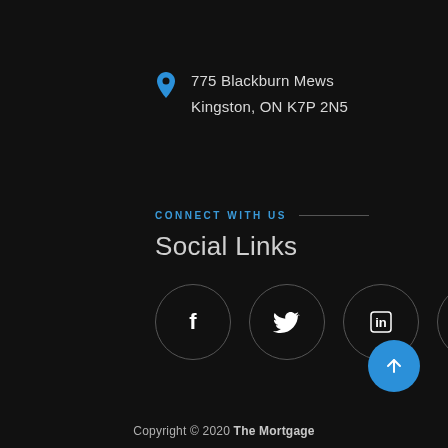775 Blackburn Mews
Kingston, ON K7P 2N5
CONNECT WITH US
Social Links
[Figure (infographic): Four social media icon circles: Facebook, Twitter, LinkedIn, YouTube]
[Figure (infographic): Blue circular back-to-top button with upward arrow]
Copyright © 2020 The Mortgage